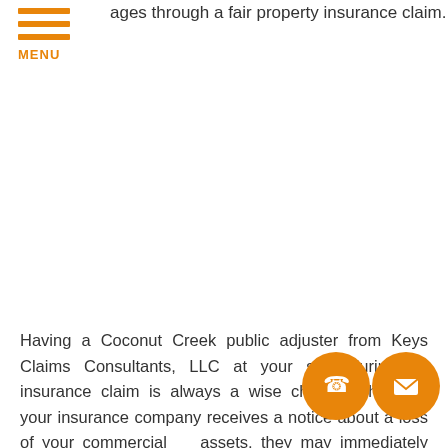ages through a fair property insurance claim.
Having a Coconut Creek public adjuster from Keys Claims Consultants, LLC at your side during an insurance claim is always a wise choice. Whenever your insurance company receives a notice about a loss of your commercial assets, they may immediately bombard you with questions to determine how much you lost. Being a policyholder who is